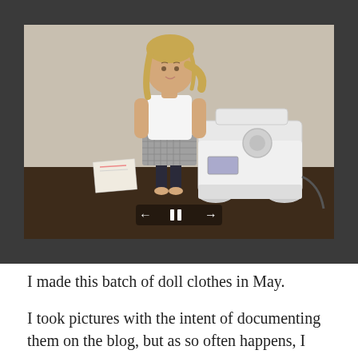[Figure (photo): A blonde doll wearing a white sleeveless top, gray checked skirt, and dark leggings, standing in front of a white sewing machine on a dark wooden surface. The photo is displayed in a dark gray lightbox viewer with left/right navigation arrows and a pause button at the bottom.]
I made this batch of doll clothes in May.
I took pictures with the intent of documenting them on the blog, but as so often happens, I